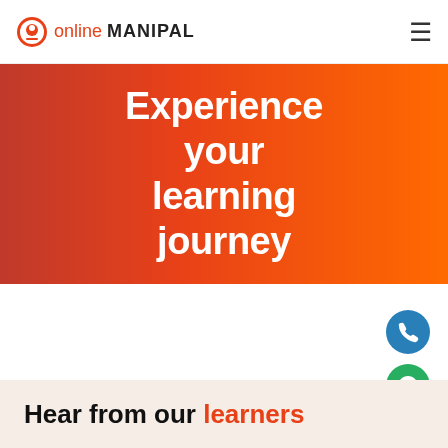online MANIPAL
Experience your learning journey
[Figure (other): Blue phone call floating button on right side]
[Figure (other): Green WhatsApp floating button on right side]
[Figure (other): Orange enrol now circular button on right side]
Hear from our learners